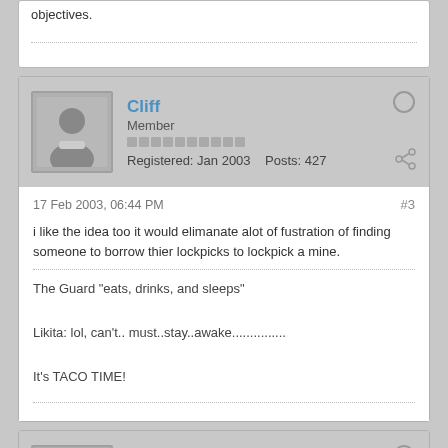objectives.
Cliff
Member
Registered: Jan 2003   Posts: 427
17 Feb 2003, 06:44 PM
#3
i like the idea too it would elimanate alot of fustration of finding someone to borrow thier lockpicks to lockpick a mine.
The Guard "eats, drinks, and sleeps"
Likita: lol, can't.. must..stay..awake...............
It's TACO TIME!
Entropy
Member